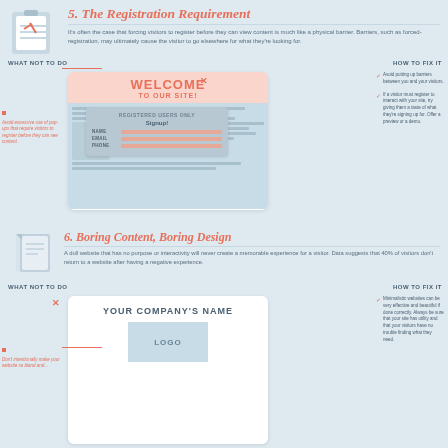[Figure (illustration): Clipboard icon for section 5]
5. The Registration Requirement
It's often the case that forcing visitors to register before they can view content is much like a physical barrier. Barriers, such as forced-registration, may ultimately cause the visitor to go elsewhere for what they're looking for.
WHAT NOT TO DO
[Figure (illustration): Website mockup showing a welcome banner with registration popup. Welcome To Our Site banner in pink/salmon color. Below it a content area with a modal popup for Registered Users Only with fields for Name, Email, Phone and a Signup button. A red X marks the popup indicating this is what not to do.]
Avoid excessive use of pop-ups that require visitors to register before they can see content.
HOW TO FIX IT
Avoid putting up barriers between you and your visitors.
If a visitor must register to interact with your site, try giving them a taste of what they're signing up for. Offer a preview or a demo.
[Figure (illustration): Document/paper icon for section 6]
6. Boring Content, Boring Design
A dull website that has no purpose or interactivity will never create a memorable experience for a visitor. Data suggests that 40% of visitors don't return to a website after having a negative experience.
WHAT NOT TO DO
[Figure (illustration): Website mockup showing a boring site with just Your Company's Name text and a Logo placeholder box. A red X marks it as what not to do.]
Don't intentionally make your website so bland and...
HOW TO FIX IT
Minimalistic websites can be very effective and beautiful if done correctly. Always be sure that your site has utility and that your visitors have no trouble finding what they need.